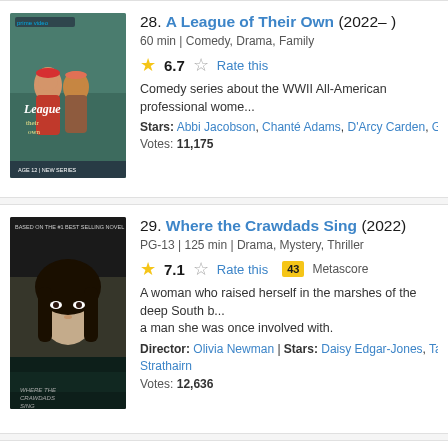[Figure (photo): Poster for A League of Their Own (2022) TV series, showing two women in baseball uniforms against a teal background with Prime Video branding]
28. A League of Their Own (2022– )
60 min | Comedy, Drama, Family
6.7  Rate this
Comedy series about the WWII All-American professional wome...
Stars: Abbi Jacobson, Chanté Adams, D'Arcy Carden, Gbemiso...
Votes: 11,175
[Figure (photo): Movie poster for Where the Crawdads Sing (2022), showing a woman's face partially obscured, dark moody tones]
29. Where the Crawdads Sing (2022)
PG-13 | 125 min | Drama, Mystery, Thriller
7.1  Rate this  43 Metascore
A woman who raised herself in the marshes of the deep South b... a man she was once involved with.
Director: Olivia Newman | Stars: Daisy Edgar-Jones, Taylor Joh... Strathairn
Votes: 12,636
[Figure (photo): Poster for Never Have I Ever (2020–2023) TV series, bright orange/pink background with characters]
30. Never Have I Ever (2020–2023)
TV-14 | 30 min | Comedy, Drama